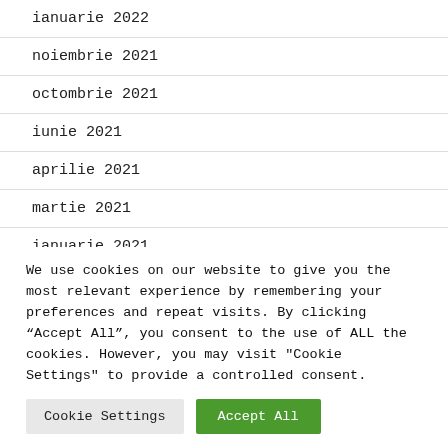ianuarie 2022
noiembrie 2021
octombrie 2021
iunie 2021
aprilie 2021
martie 2021
ianuarie 2021
We use cookies on our website to give you the most relevant experience by remembering your preferences and repeat visits. By clicking “Accept All”, you consent to the use of ALL the cookies. However, you may visit "Cookie Settings" to provide a controlled consent.
Cookie Settings | Accept All